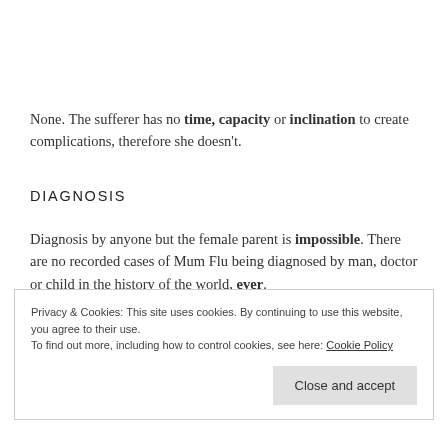None. The sufferer has no time, capacity or inclination to create complications, therefore she doesn't.
DIAGNOSIS
Diagnosis by anyone but the female parent is impossible. There are no recorded cases of Mum Flu being diagnosed by man, doctor or child in the history of the world, ever.
Privacy & Cookies: This site uses cookies. By continuing to use this website, you agree to their use.
To find out more, including how to control cookies, see here: Cookie Policy